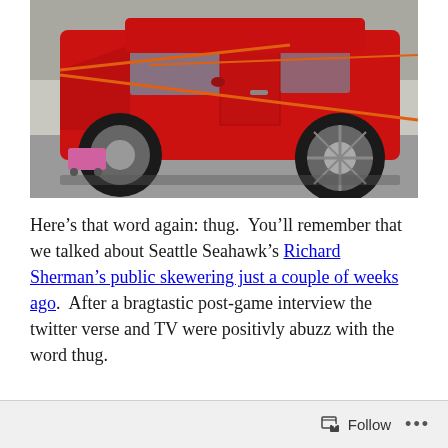[Figure (photo): A red SUV/truck in a garage or repair shop. Orange bungee cords or straps are stretched across the side of the vehicle. A pink or purple rolling cart is visible under the front passenger side. The vehicle appears to have its door open or removed.]
Here’s that word again: thug.  You’ll remember that we talked about Seattle Seahawk’s Richard Sherman’s public skewering just a couple of weeks ago.  After a bragtastic post-game interview the twitter verse and TV were positivly abuzz with the word thug.
Follow •••